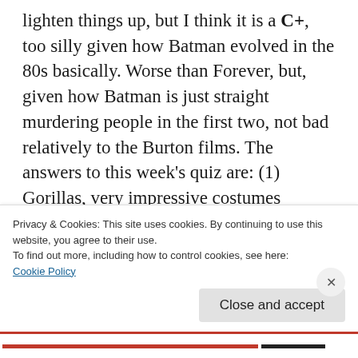lighten things up, but I think it is a C+, too silly given how Batman evolved in the 80s basically. Worse than Forever, but, given how Batman is just straight murdering people in the first two, not bad relatively to the Burton films. The answers to this week's quiz are: (1) Gorillas, very impressive costumes actually; (2) 11 minutes, which was later referred to in the climax of the film as the time it would take for everyone in Gotham to die as well; (3) Oxbridge, an intentional mix of Oxford and
Privacy & Cookies: This site uses cookies. By continuing to use this website, you agree to their use.
To find out more, including how to control cookies, see here:
Cookie Policy
Close and accept